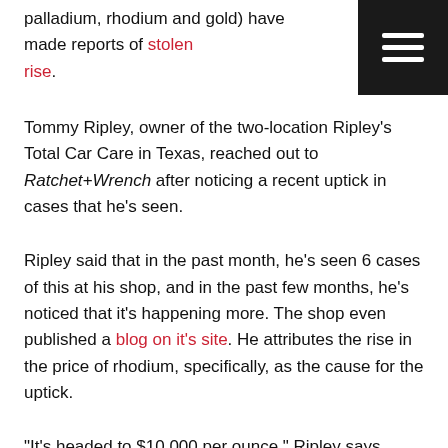palladium, rhodium and gold) have made reports of stolen rise.
[Figure (other): Dark navigation bar with hamburger menu icon (three horizontal white lines on black background) in top-right corner]
Tommy Ripley, owner of the two-location Ripley's Total Car Care in Texas, reached out to Ratchet+Wrench after noticing a recent uptick in cases that he's seen.
Ripley said that in the past month, he's seen 6 cases of this at his shop, and in the past few months, he's noticed that it's happening more. The shop even published a blog on it's site. He attributes the rise in the price of rhodium, specifically, as the cause for the uptick.
“It’s headed to $10,000 per ounce,” Ripley says.
Ripley explains that thieves will target vehicles, specifically larger trucks that are easy to get under without being noticed, cut the catalytic converters out and sell to the salvage yards